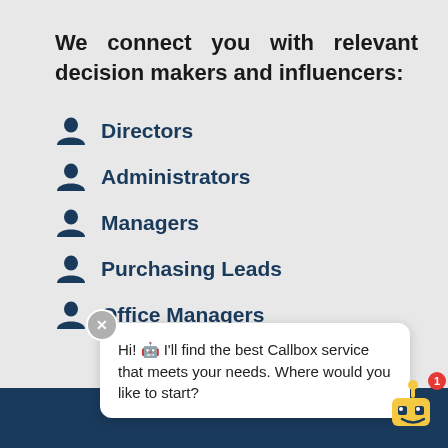We connect you with relevant decision makers and influencers:
Directors
Administrators
Managers
Purchasing Leads
Office Managers
Hi! 🤖 I'll find the best Callbox service that meets your needs. Where would you like to start?